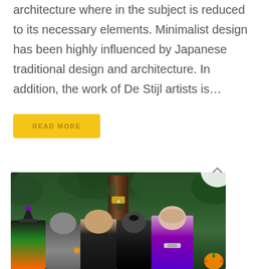architecture where in the subject is reduced to its necessary elements. Minimalist design has been highly influenced by Japanese traditional design and architecture. In addition, the work of De Stijl artists is...
READ MORE
[Figure (photo): Group of young children dressed in Halloween costumes sitting in front of a large tree surrounded by green foliage. Costumes include a witch, a ninja/knight, and purple/black dresses. An orange pumpkin is visible on the right edge.]